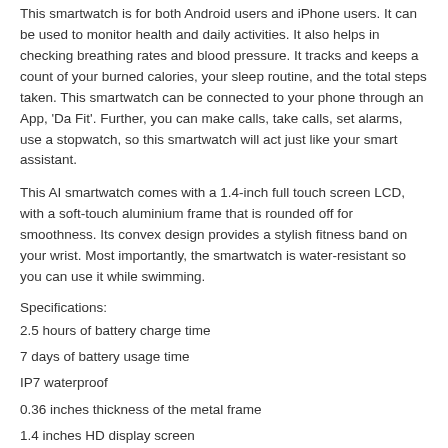This smartwatch is for both Android users and iPhone users. It can be used to monitor health and daily activities. It also helps in checking breathing rates and blood pressure. It tracks and keeps a count of your burned calories, your sleep routine, and the total steps taken. This smartwatch can be connected to your phone through an App, 'Da Fit'. Further, you can make calls, take calls, set alarms, use a stopwatch, so this smartwatch will act just like your smart assistant.
This AI smartwatch comes with a 1.4-inch full touch screen LCD, with a soft-touch aluminium frame that is rounded off for smoothness. Its convex design provides a stylish fitness band on your wrist. Most importantly, the smartwatch is water-resistant so you can use it while swimming.
Specifications:
2.5 hours of battery charge time
7 days of battery usage time
IP7 waterproof
0.36 inches thickness of the metal frame
1.4 inches HD display screen